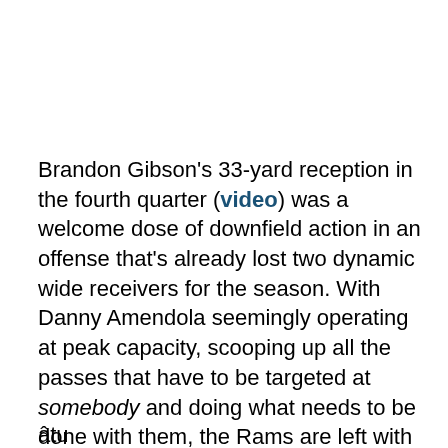Brandon Gibson's 33-yard reception in the fourth quarter (video) was a welcome dose of downfield action in an offense that's already lost two dynamic wide receivers for the season. With Danny Amendola seemingly operating at peak capacity, scooping up all the passes that have to be targeted at somebody and doing what needs to be done with them, the Rams are left with Gibson, the injured Danario Alexander, and the presumably soon-to-be-injured Laurent Robinson as internal upside candidates.
âtu